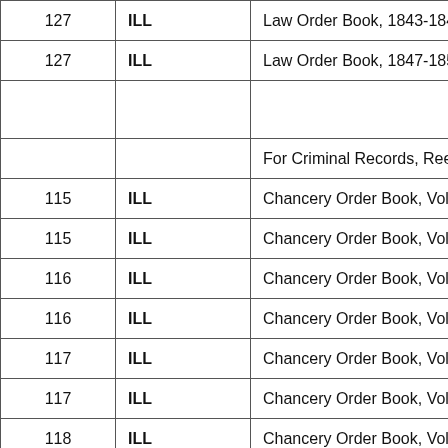| 127 | ILL | Law Order Book, 1843-1847 39… |
| 127 | ILL | Law Order Book, 1847-1851 48… |
|  |  |  |
|  |  | For Criminal Records, Reels 278… |
| 115 | ILL | Chancery Order Book, Vol. 3, 18… |
| 115 | ILL | Chancery Order Book, Vol. 4, 18… |
| 116 | ILL | Chancery Order Book, Vol. 5, 18… |
| 116 | ILL | Chancery Order Book, Vol. 6, 18… |
| 117 | ILL | Chancery Order Book, Vol. 7, 18… |
| 117 | ILL | Chancery Order Book, Vol. 8, 18… |
| 118 | ILL | Chancery Order Book, Vol. 8, 18… |